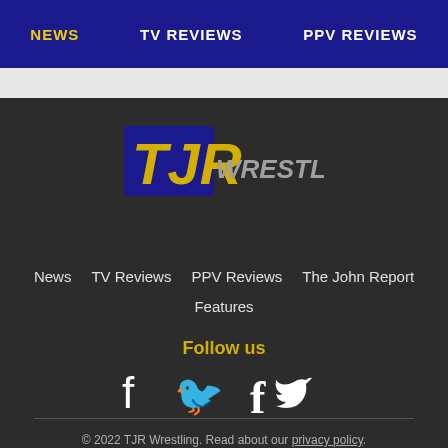NEWS   TV REVIEWS   PPV REVIEWS
[Figure (logo): TJR Wrestling logo with gold TJR letters and grey WRESTLING text on dark blue background]
News
TV Reviews
PPV Reviews
The John Report
Features
Follow us
[Figure (illustration): Facebook and Twitter social media icons in white]
© 2022 TJR Wrestling. Read about our privacy policy.